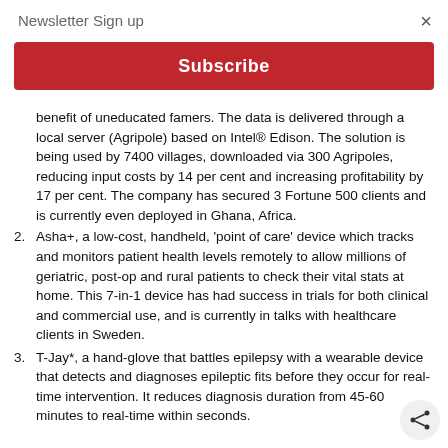Newsletter Sign up
[Figure (other): Red Subscribe button for newsletter signup overlay]
benefit of uneducated famers. The data is delivered through a local server (Agripole) based on Intel® Edison. The solution is being used by 7400 villages, downloaded via 300 Agripoles, reducing input costs by 14 per cent and increasing profitability by 17 per cent. The company has secured 3 Fortune 500 clients and is currently even deployed in Ghana, Africa.
2. Asha+, a low-cost, handheld, 'point of care' device which tracks and monitors patient health levels remotely to allow millions of geriatric, post-op and rural patients to check their vital stats at home. This 7-in-1 device has had success in trials for both clinical and commercial use, and is currently in talks with healthcare clients in Sweden.
3. T-Jay*, a hand-glove that battles epilepsy with a wearable device that detects and diagnoses epileptic fits before they occur for real-time intervention. It reduces diagnosis duration from 45-60 minutes to real-time within seconds.